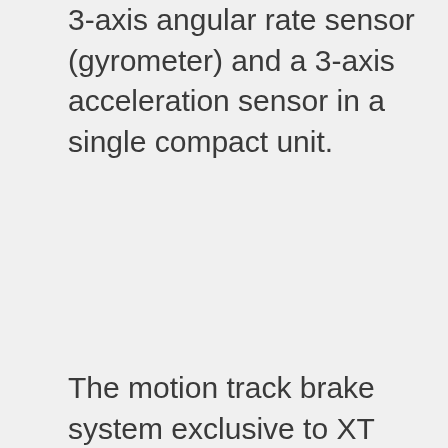3-axis angular rate sensor (gyrometer) and a 3-axis acceleration sensor in a single compact unit.
The motion track brake system exclusive to XT combines information on the posture of the vehicle from the new IMU with the front and rear brake controls. This all-